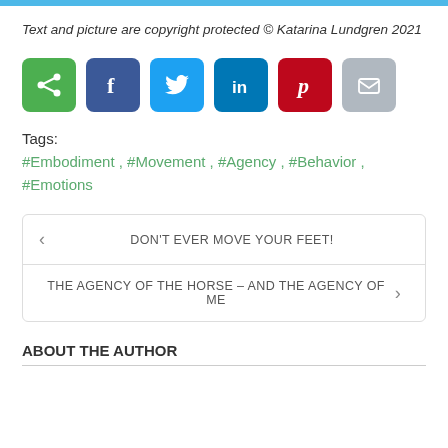Text and picture are copyright protected © Katarina Lundgren 2021
[Figure (infographic): Row of six social share buttons: green share icon, blue Facebook, light blue Twitter, dark blue LinkedIn, red Pinterest, grey email/envelope]
Tags:
#Embodiment , #Movement , #Agency , #Behavior , #Emotions
< DON'T EVER MOVE YOUR FEET!
THE AGENCY OF THE HORSE – AND THE AGENCY OF ME >
ABOUT THE AUTHOR